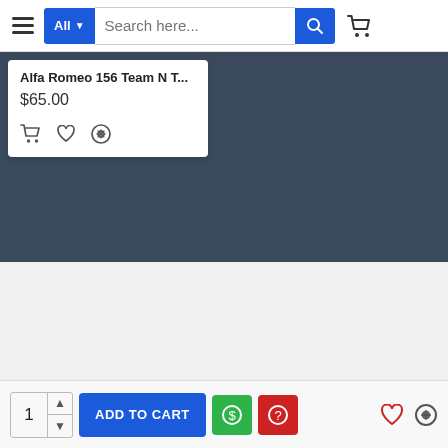Navigation bar with hamburger menu, All dropdown, search bar, search button, cart icon
[Figure (screenshot): Product card showing Alfa Romeo 156 Team N T... priced at $65.00 with cart, wishlist, and compare icons, on dark blue background]
About Us
About Us
Privacy Policy
Terms & Conditions
Customer Service
Bottom bar: quantity selector (1), ADD TO CART button, green dollar button, red question button, heart icon, compare icon